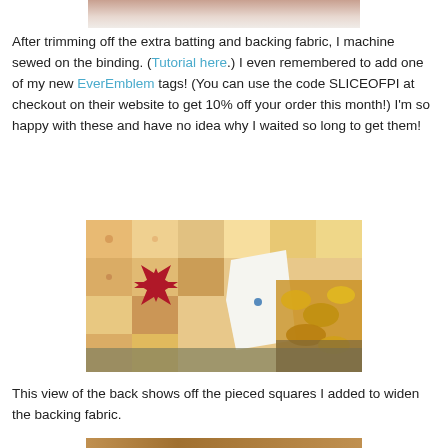[Figure (photo): Top portion of a quilt or fabric image, partially visible at the top of the page]
After trimming off the extra batting and backing fabric, I machine sewed on the binding. (Tutorial here.) I even remembered to add one of my new EverEmblem tags! (You can use the code SLICEOFPI at checkout on their website to get 10% off your order this month!) I'm so happy with these and have no idea why I waited so long to get them!
[Figure (photo): Close-up photo of a quilt showing a large red star pattern on patchwork fabric with orange and floral squares, with a white area showing a small blue tag, and autumn leaves visible in the background]
This view of the back shows off the pieced squares I added to widen the backing fabric.
[Figure (photo): Bottom portion of another quilt photo, partially visible at the bottom of the page]